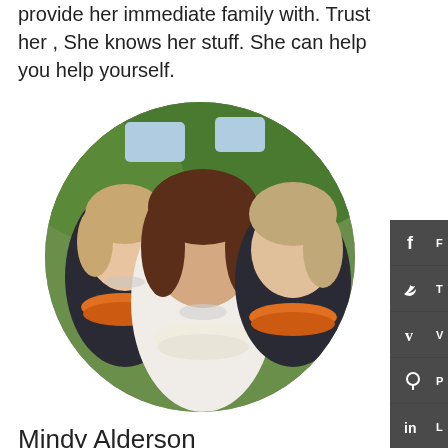provide her immediate family with. Trust her , She knows her stuff. She can help you help yourself.
[Figure (photo): Circular cropped photo of three women wearing flower leis, outdoors with trees in background. The center woman wears a white dress and white lei; the other two wear black and orange/yellow leis.]
Mindy Alderson